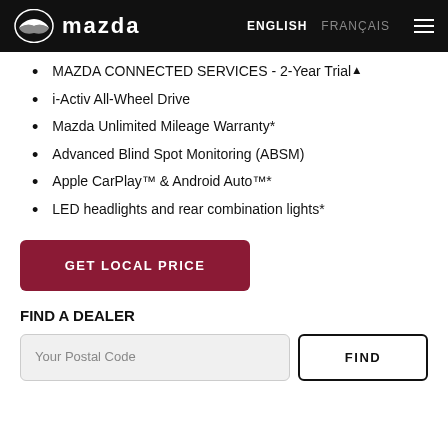Mazda — ENGLISH  FRANÇAIS
MAZDA CONNECTED SERVICES - 2-Year Trial*
i-Activ All-Wheel Drive
Mazda Unlimited Mileage Warranty*
Advanced Blind Spot Monitoring (ABSM)
Apple CarPlay™ & Android Auto™*
LED headlights and rear combination lights*
GET LOCAL PRICE
FIND A DEALER
Your Postal Code  FIND